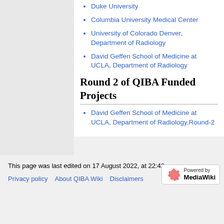Duke University
Columbia University Medical Center
University of Colorado Denver, Department of Radiology
David Geffen School of Medicine at UCLA, Department of Radiology
Round 2 of QIBA Funded Projects
David Geffen School of Medicine at UCLA, Department of Radiology,Round-2
This page was last edited on 17 August 2022, at 22:42.
Privacy policy   About QIBA Wiki   Disclaimers